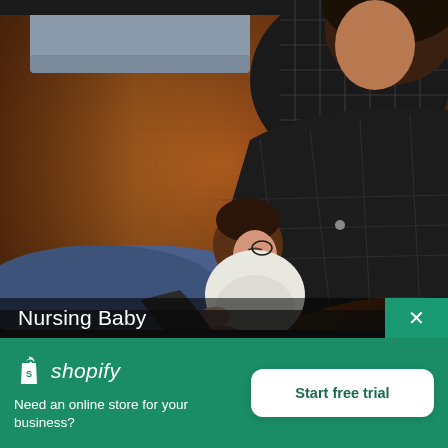[Figure (photo): A person sitting on a wooden floor holding and nursing a newborn baby, wearing a black plaid shirt and blue jeans. A grey sofa is visible in the upper left background. The photo is taken from above/behind the person.]
Nursing Baby
[Figure (logo): Shopify logo: white shopping bag icon with Shopify wordmark in white italic text on green background]
Need an online store for your business?
Start free trial